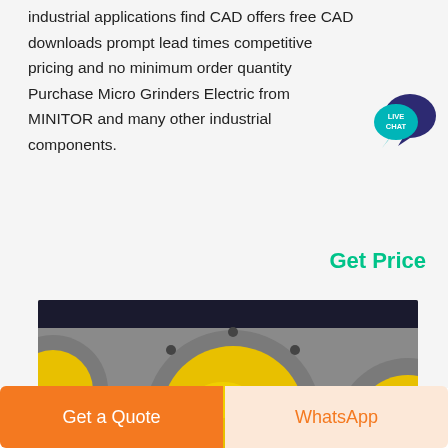industrial applications find CAD offers free CAD downloads prompt lead times competitive pricing and no minimum order quantity Purchase Micro Grinders Electric from MINITOR and many other industrial components.
[Figure (illustration): Live Chat speech bubble badge icon with teal/dark blue colors and white text reading LIVE CHAT]
Get Price
[Figure (photo): Industrial machinery component with large circular yellow-covered openings/ports in a grey metal housing, showing bolt holes around the flanges]
Get a Quote
WhatsApp